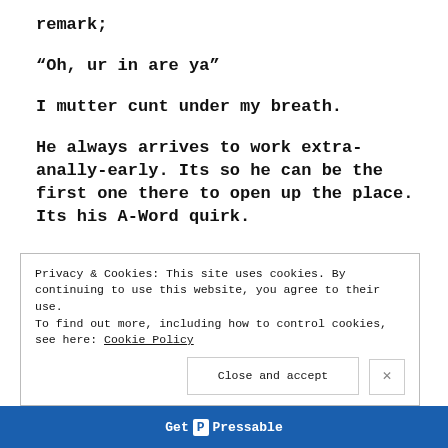remark;
“Oh, ur in are ya”
I mutter cunt under my breath.
He always arrives to work extra-anally-early. Its so he can be the first one there to open up the place. Its his A-Word quirk.
Privacy & Cookies: This site uses cookies. By continuing to use this website, you agree to their use. To find out more, including how to control cookies, see here: Cookie Policy
Close and accept
Get P Pressable